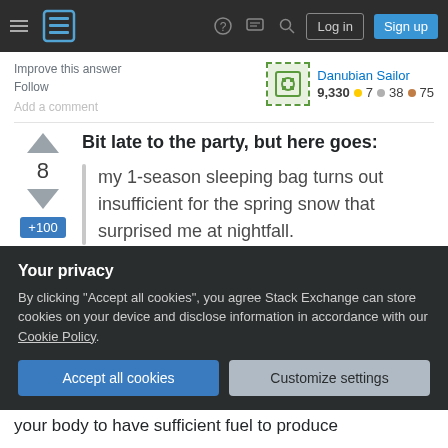Stack Exchange navigation bar with hamburger menu, logo, help, chat, search icons, Log in and Sign up buttons
Improve this answer
Follow
Add a comment
Danubian Sailor
9,330 ●7 ●38 ●75
Bit late to the party, but here goes:
my 1-season sleeping bag turns out insufficient for the spring snow that surprised me at nightfall.
Your privacy
By clicking "Accept all cookies", you agree Stack Exchange can store cookies on your device and disclose information in accordance with our Cookie Policy.
Accept all cookies   Customize settings
your body to have sufficient fuel to produce